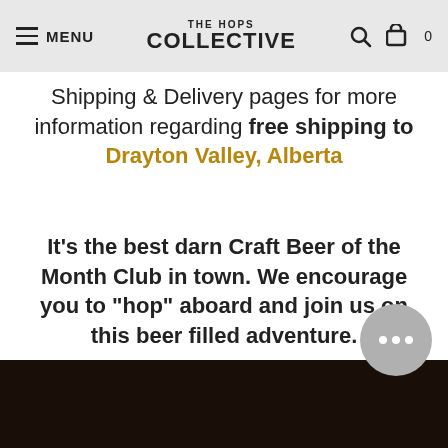THE HOPS COLLECTIVE — MENU
Shipping & Delivery pages for more information regarding free shipping to Drayton Valley, Alberta
It's the best darn Craft Beer of the Month Club in town. We encourage you to “hop” aboard and join us on this beer filled adventure.
[Figure (photo): Dark background image at bottom of page, partial view of a dark scene.]